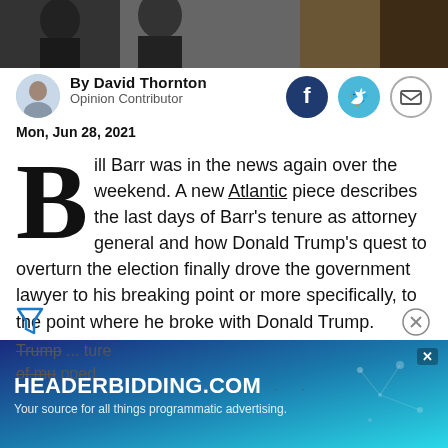[Figure (photo): Top banner photograph, dark background showing partial figures in formal attire]
By David Thornton
Opinion Contributor
Mon, Jun 28, 2021
[Figure (infographic): Social sharing icons: Facebook (dark blue circle), Twitter (light blue circle), Email (gray circle with envelope)]
Bill Barr was in the news again over the weekend. A new Atlantic piece describes the last days of Barr's tenure as attorney general and how Donald Trump's quest to overturn the election finally drove the government lawyer to his breaking point or more specifically, to the point where he broke with Donald Trump.
Barr, who had also served as attorney general under Bush 41, was appointed by President Trump... into the role on February 14, 2019, shortly
[Figure (infographic): Advertisement banner: HEADERBIDDING.COM - Your source for all things programmatic advertising. Dark blue to teal gradient background with decorative network dots.]